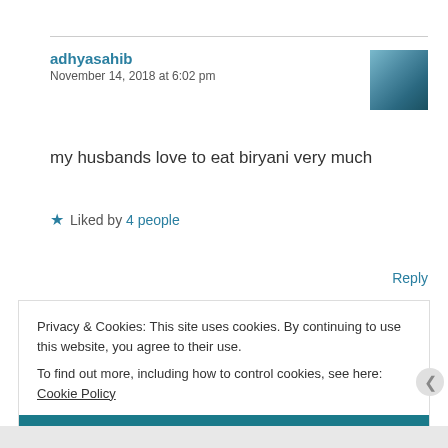adhyasahib
November 14, 2018 at 6:02 pm
[Figure (photo): Small square avatar photo of a person outdoors]
my husbands love to eat biryani very much
★ Liked by 4 people
Reply
Privacy & Cookies: This site uses cookies. By continuing to use this website, you agree to their use.
To find out more, including how to control cookies, see here: Cookie Policy
Close and accept